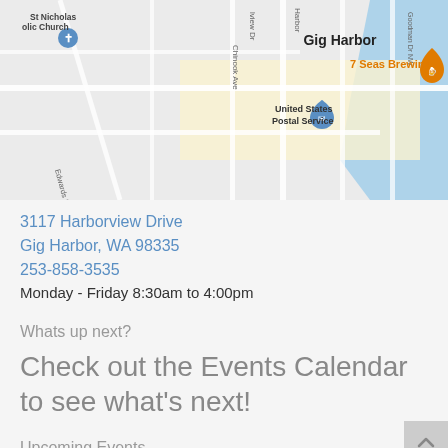[Figure (map): Google Maps screenshot showing Gig Harbor area with markers for St Nicholas Catholic Church, United States Postal Service, and 7 Seas Brewing on Harborview Drive.]
3117 Harborview Drive
Gig Harbor, WA 98335
253-858-3535
Monday - Friday 8:30am to 4:00pm
Whats up next?
Check out the Events Calendar to see what's next!
Upcoming Events